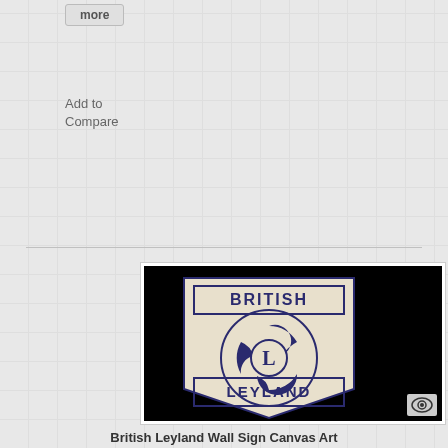more
Add to
Compare
[Figure (photo): British Leyland Wall Sign Canvas Art showing the British Leyland logo — a cream/beige shield shape with 'BRITISH' text at top, 'LEYLAND' text at bottom, and a circular swirling logo with the letter L in the center, all in dark navy blue, displayed on a black background with a watermark eye icon in the bottom-right corner.]
British Leyland Wall Sign Canvas Art